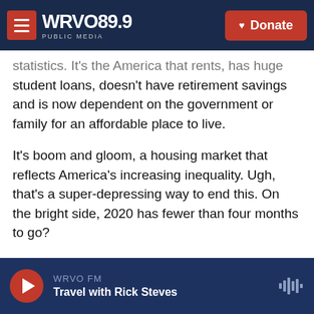WRVO 89.9 PUBLIC MEDIA — Donate
statistics. It's the America that rents, has huge student loans, doesn't have retirement savings and is now dependent on the government or family for an affordable place to live.
It's boom and gloom, a housing market that reflects America's increasing inequality. Ugh, that's a super-depressing way to end this. On the bright side, 2020 has fewer than four months to go?
Did you enjoy this newsletter segment? Well, it looks even better in your inbox! You can sign up here.
WRVO FM — Travel with Rick Steves